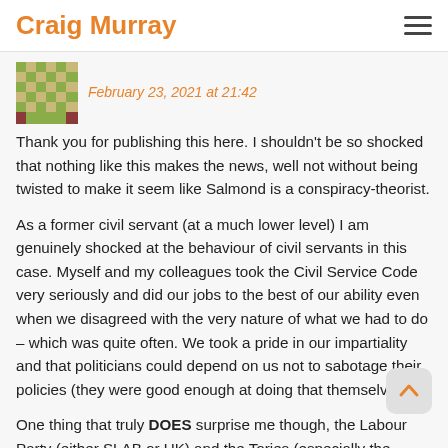Craig Murray
February 23, 2021 at 21:42
Thank you for publishing this here. I shouldn't be so shocked that nothing like this makes the news, well not without being twisted to make it seem like Salmond is a conspiracy-theorist.

As a former civil servant (at a much lower level) I am genuinely shocked at the behaviour of civil servants in this case. Myself and my colleagues took the Civil Service Code very seriously and did our jobs to the best of our ability even when we disagreed with the very nature of what we had to do – which was quite often. We took a pride in our impartiality and that politicians could depend on us not to sabotage their policies (they were good enough at doing that themselves!)

One thing that truly DOES surprise me though, the Labour Party (either SLAB or UK) and the Tories (especially the Union Unit) have done absolutely NOTHING to make use of all of this. Surely